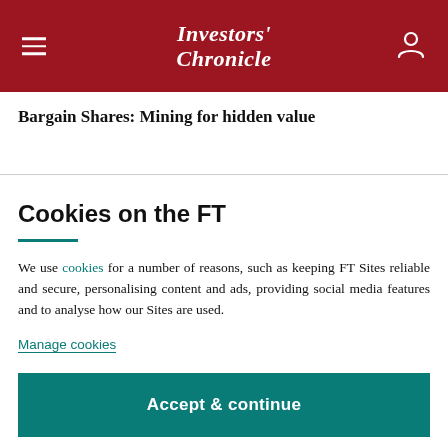Investors' Chronicle
Bargain Shares: Mining for hidden value
Cookies on the FT
We use cookies for a number of reasons, such as keeping FT Sites reliable and secure, personalising content and ads, providing social media features and to analyse how our Sites are used.
Manage cookies
Accept & continue